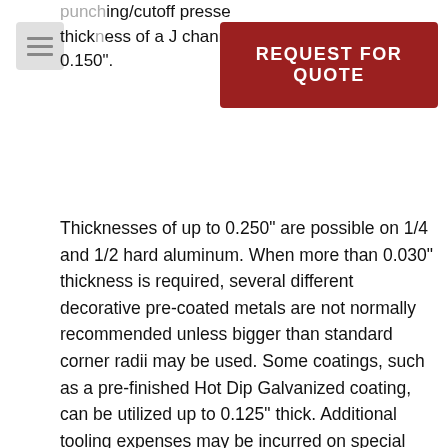punching/cutoff presses thickness of a J channel 0.150".
[Figure (other): Red REQUEST FOR QUOTE banner button overlay, and a hamburger menu icon]
Thicknesses of up to 0.250" are possible on 1/4 and 1/2 hard aluminum. When more than 0.030" thickness is required, several different decorative pre-coated metals are not normally recommended unless bigger than standard corner radii may be used. Some coatings, such as a pre-finished Hot Dip Galvanized coating, can be utilized up to 0.125" thick. Additional tooling expenses may be incurred on special corner radii, Ampco bronze for highly polished stainless steel that cannot be covered with a protective strippable PVC covering, or legs bent more or less than 90 degrees. This includes other more advanced forming requirements.